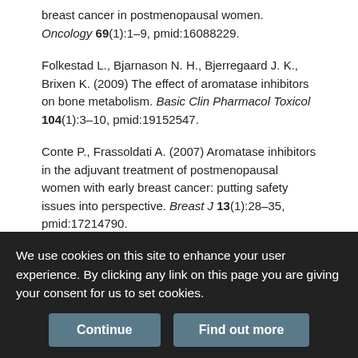breast cancer in postmenopausal women. Oncology 69(1):1–9, pmid:16088229.
Folkestad L., Bjarnason N. H., Bjerregaard J. K., Brixen K. (2009) The effect of aromatase inhibitors on bone metabolism. Basic Clin Pharmacol Toxicol 104(1):3–10, pmid:19152547.
Conte P., Frassoldati A. (2007) Aromatase inhibitors in the adjuvant treatment of postmenopausal women with early breast cancer: putting safety issues into perspective. Breast J 13(1):28–35, pmid:17214790.
Murray N., Winstanley J., Bennett A., Francis K; Guideline Development Group (2009) Diagnosis and treatment of advanced breast cancer: summary of NICE guidance. BMJ 338:b509. doi: 10.1136/bmj.b509, pmid:19244303.
Coleman R. E., Banks L. M., Girgis S. I., et al. (2007) Skeletal effects of
We use cookies on this site to enhance your user experience. By clicking any link on this page you are giving your consent for us to set cookies.